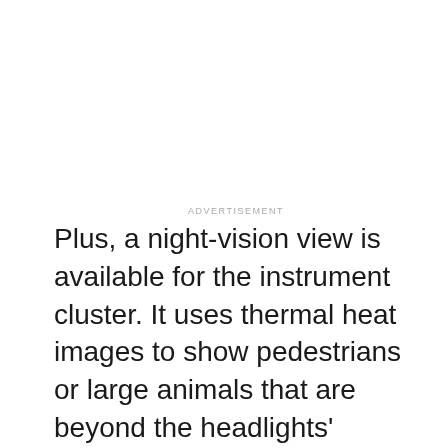ADVERTISEMENT
Plus, a night-vision view is available for the instrument cluster. It uses thermal heat images to show pedestrians or large animals that are beyond the headlights' reach. The Escalade also has a full-color head-up display and microphones to enhance communication within the cavernous SUV. And all trims have wireless Apple CarPlay, Android Auto, device charging, and a 360-degree parking camera, MotorTrend reports. A digital rearview mirror is available